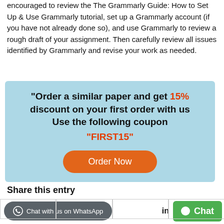encouraged to review the The Grammarly Guide: How to Set Up & Use Grammarly tutorial, set up a Grammarly account (if you have not already done so), and use Grammarly to review a rough draft of your assignment. Then carefully review all issues identified by Grammarly and revise your work as needed.
[Figure (infographic): Light blue promotional box with bold text: 'Order a similar paper and get 15% discount on your first order with us Use the following coupon "FIRST15"' and an orange 'Order Now' button.]
Share this entry
[Figure (infographic): Bottom bar with a dark gray WhatsApp chat button on left, and a green Chat button on right, with 'in' label between them and a table row with bordered cells.]